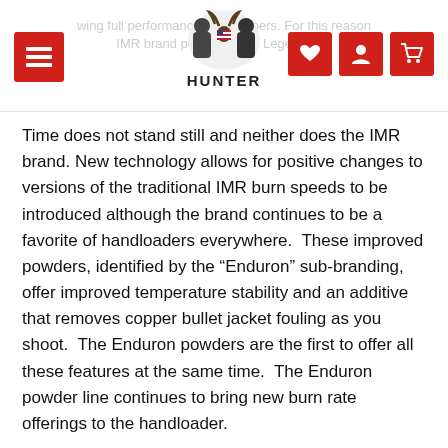USA HUNTER — website header with navigation icons
Time does not stand still and neither does the IMR brand. New technology allows for positive changes to versions of the traditional IMR burn speeds to be introduced although the brand continues to be a favorite of handloaders everywhere. These improved powders, identified by the “Enduron” sub-branding, offer improved temperature stability and an additive that removes copper bullet jacket fouling as you shoot. The Enduron powders are the first to offer all these features at the same time. The Enduron powder line continues to bring new burn rate offerings to the handloader.
Even in the early days, DuPont focused on innovation – offering “any quantity of powder as good or better than any available”. IMR constantly focuses on innovation nowadays.